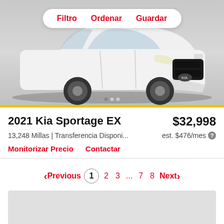[Figure (photo): White 2021 Kia Sportage EX SUV shown from front-left angle in a studio setting with grey background. A white pill-shaped toolbar overlay shows 'Filtro', 'Ordenar', 'Guardar' in red text.]
2021 Kia Sportage EX
$32,998
13,248 Millas | Transferencia Disponi...
est. $476/mes
Monitorizar Precio    Contactar
Previous  1  2  3  ...  7  8  Next
[Figure (other): Grey advertisement placeholder rectangle]